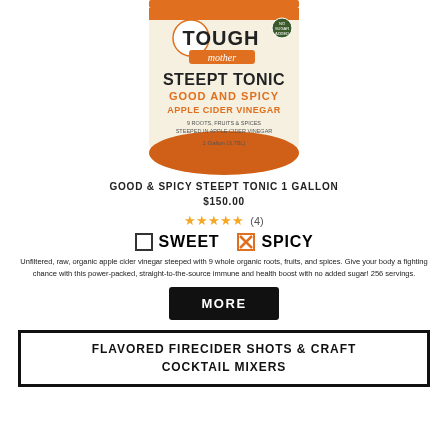[Figure (photo): Tough Mother Steept Tonic Good and Spicy Apple Cider Vinegar 1 Gallon bottle product image]
GOOD & SPICY STEEPT TONIC 1 GALLON
$150.00
★★★★★ (4)
□ SWEET  ☒ SPICY
Unfiltered, raw, organic apple cider vinegar steeped with 9 whole organic roots, fruits, and spices. Give your body a fighting chance with this power-packed, straight-to-the-source immune and health boost with no added sugar! 256 servings.
MORE
FLAVORED FIRECIDER SHOTS & CRAFT COCKTAIL MIXERS